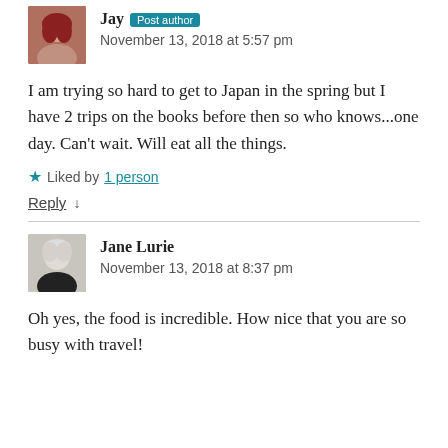[Figure (photo): Avatar of user Jay, a woman with reddish hair]
Jay Post author
November 13, 2018 at 5:57 pm
I am trying so hard to get to Japan in the spring but I have 2 trips on the books before then so who knows...one day. Can't wait. Will eat all the things.
Liked by 1 person
Reply ↓
[Figure (photo): Avatar of Jane Lurie, a woman with short grey hair]
Jane Lurie
November 13, 2018 at 8:37 pm
Oh yes, the food is incredible. How nice that you are so busy with travel!